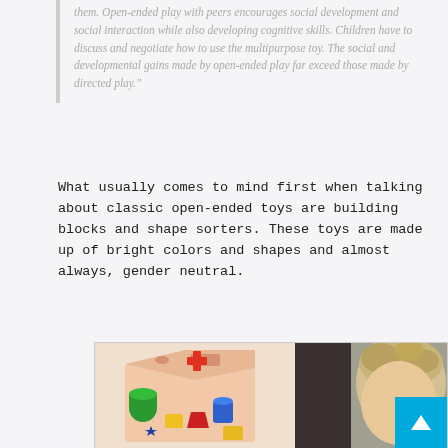them. Open-ended play with peers encourages social development and social interaction while also developing cognitive skills. Children have to discuss and negotiate how to use the multipurpose toy. The social and developmental gains made by open-ended play far exceed those made by directed play."
What usually comes to mind first when talking about classic open-ended toys are building blocks and shape sorters. These toys are made up of bright colors and shapes and almost always, gender neutral.
[Figure (photo): Two photos side by side: left shows a colorful wooden shape sorter toy cube with bright colored shapes (green cylinder, yellow blocks, red trapezoid, blue shapes, red cross pattern on top); right shows a young blonde child from behind/side.]